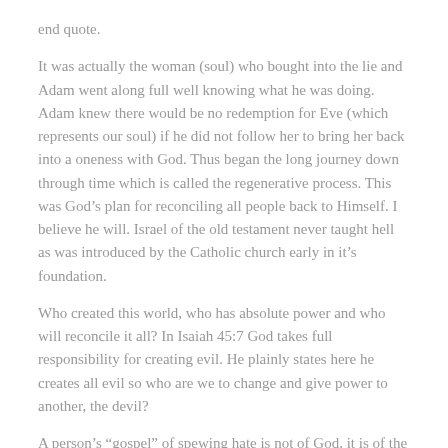end quote.
It was actually the woman (soul) who bought into the lie and Adam went along full well knowing what he was doing. Adam knew there would be no redemption for Eve (which represents our soul) if he did not follow her to bring her back into a oneness with God. Thus began the long journey down through time which is called the regenerative process. This was God’s plan for reconciling all people back to Himself. I believe he will. Israel of the old testament never taught hell as was introduced by the Catholic church early in it’s foundation.
Who created this world, who has absolute power and who will reconcile it all? In Isaiah 45:7 God takes full responsibility for creating evil. He plainly states here he creates all evil so who are we to change and give power to another, the devil?
A person’s “gospel” of spewing hate is not of God, it is of the evil one. I would rather err on seeing God as loving to all of His creation rather than giving praise and worship of an evil deity which would find pleasure in someone burning in a